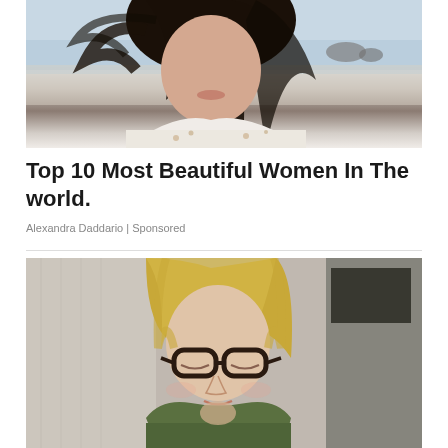[Figure (photo): Woman with dark hair at beach wearing white patterned top, looking down]
Top 10 Most Beautiful Women In The world.
Alexandra Daddario | Sponsored
[Figure (photo): Blonde woman wearing glasses and green top, eyes closed, touching her neck, indoors]